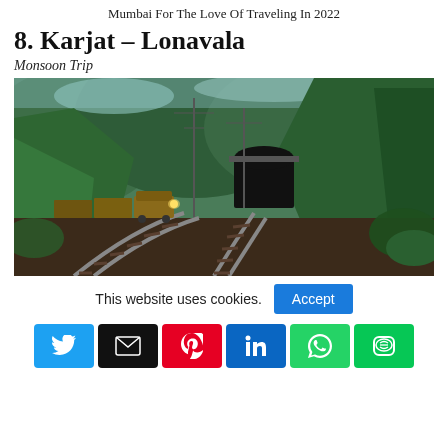Mumbai For The Love Of Traveling In 2022
8. Karjat – Lonavala
Monsoon Trip
[Figure (photo): A train approaching on curved railway tracks through lush green hills during monsoon season, with a tunnel visible in the background.]
This website uses cookies.
Social sharing buttons: Twitter, Email, Pinterest, LinkedIn, WhatsApp, LINE